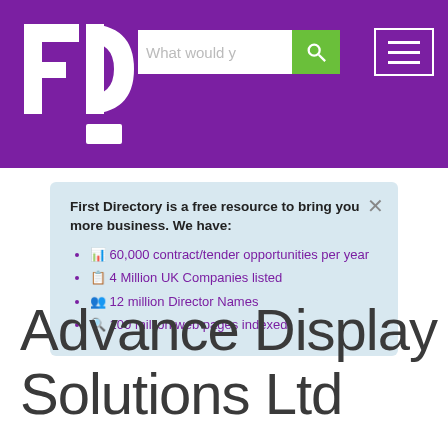First Directory header with FD logo, search bar, and menu button
First Directory is a free resource to bring you more business. We have:
60,000 contract/tender opportunities per year
4 Million UK Companies listed
12 million Director Names
100 million web pages indexed
Advance Display Solutions Ltd